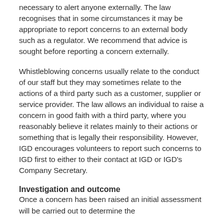necessary to alert anyone externally. The law recognises that in some circumstances it may be appropriate to report concerns to an external body such as a regulator. We recommend that advice is sought before reporting a concern externally.
Whistleblowing concerns usually relate to the conduct of our staff but they may sometimes relate to the actions of a third party such as a customer, supplier or service provider. The law allows an individual to raise a concern in good faith with a third party, where you reasonably believe it relates mainly to their actions or something that is legally their responsibility. However, IGD encourages volunteers to report such concerns to IGD first to either to their contact at IGD or IGD's Company Secretary.
Investigation and outcome
Once a concern has been raised an initial assessment will be carried out to determine the